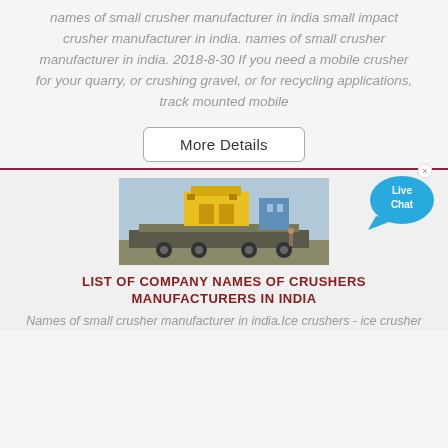names of small crusher manufacturer in india small impact crusher manufacturer in india. names of small crusher manufacturer in india. 2018-8-30 If you need a mobile crusher for your quarry, or crushing gravel, or for recycling applications, track mounted mobile
[Figure (other): Button labeled 'More Details' with rounded border]
[Figure (photo): Yellow industrial crusher/impact machine loaded on a flatbed truck on a street, with buildings in background]
LIST OF COMPANY NAMES OF CRUSHERS MANUFACTURERS IN INDIA
Names of small crusher manufacturer in india.Ice crushers - ice crusher